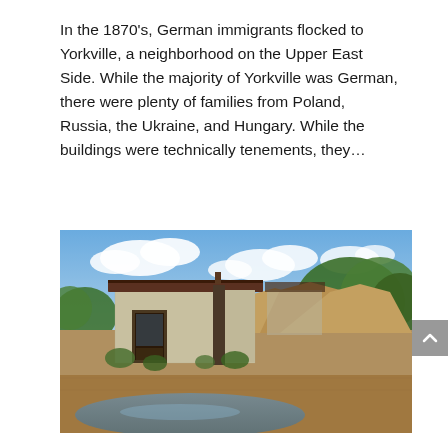In the 1870's, German immigrants flocked to Yorkville, a neighborhood on the Upper East Side. While the majority of Yorkville was German, there were plenty of families from Poland, Russia, the Ukraine, and Hungary. While the buildings were technically tenements, they...
[Figure (photo): Photograph of an abandoned or dilapidated small concrete building with a dark roof, surrounded by overgrown vegetation and trees. In the foreground there are mounds of dirt/gravel and a muddy puddle reflecting the cloudy blue sky.]